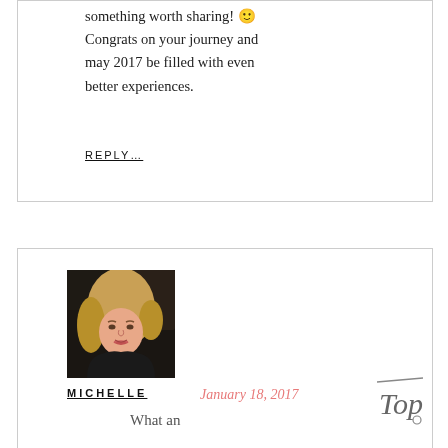something worth sharing! 🙂 Congrats on your journey and may 2017 be filled with even better experiences.
REPLY…
[Figure (photo): Profile photo of a blonde woman in a dark setting, used as commenter avatar]
MICHELLE   January 18, 2017
What an